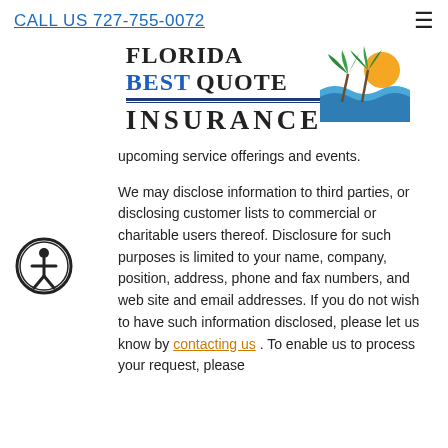CALL US 727-755-0072
[Figure (logo): Florida Best Quote Insurance logo with palm trees, sun, and ocean waves graphic]
upcoming service offerings and events.
We may disclose information to third parties, or disclosing customer lists to commercial or charitable users thereof. Disclosure for such purposes is limited to your name, company, position, address, phone and fax numbers, and web site and email addresses. If you do not wish to have such information disclosed, please let us know by contacting us . To enable us to process your request, please